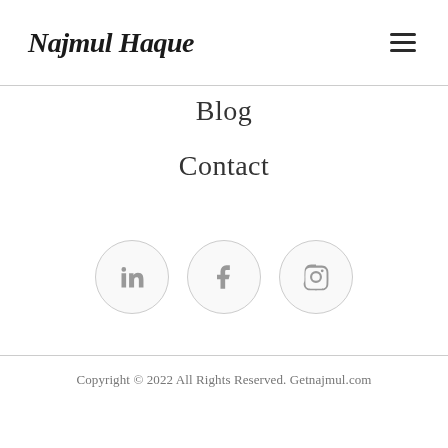Najmul Haque
Blog
Contact
[Figure (other): Three social media icon circles: LinkedIn (in), Facebook (f), Instagram (camera icon)]
Copyright © 2022 All Rights Reserved. Getnajmul.com